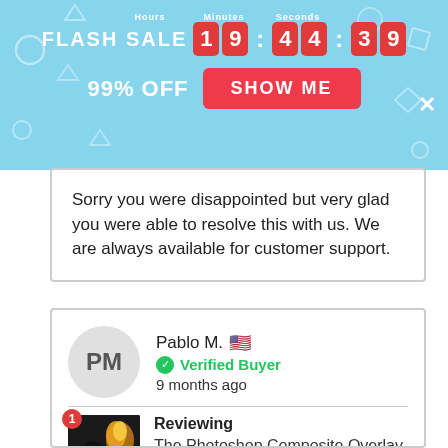[Figure (screenshot): Flash sale banner with countdown timer showing 19:44:39, 99% OFF text, and SHOW ME button on light blue background]
Sorry you were disappointed but very glad you were able to resolve this with us. We are always available for customer support.
[Figure (screenshot): Review card for Pablo M. (US flag), Verified Buyer, 9 months ago, reviewing The Photoshop Composite Overlay FX Bundle Suite]
Pablo M. 🇺🇸
Verified Buyer
9 months ago
Reviewing
The Photoshop Composite Overlay FX Bundle Suite